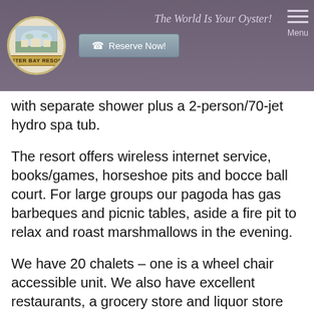Oyster Bay Resorts — The World Is Your Oyster! — Reserve Now! — Menu
with separate shower plus a 2-person/70-jet hydro spa tub.
The resort offers wireless internet service, books/games, horseshoe pits and bocce ball court. For large groups our pagoda has gas barbeques and picnic tables, aside a fire pit to relax and roast marshmallows in the evening.
We have 20 chalets – one is a wheel chair accessible unit. We also have excellent restaurants, a grocery store and liquor store nearby. We also allow small pets.
In 2004, the resort added a 2,700 square foot meeting hall that accommodates up to 125 people. Featuring a gas fireplace, private bathroom facilities, a warming